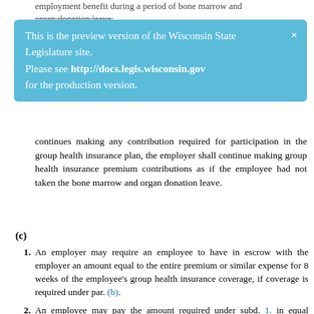employment benefit during a period of bone marrow and organ donation leave.
[Figure (screenshot): Blue banner notification: 'This is the preview version of the Wisconsin State Legislature site. Please see http://docs.legis.wisconsin.gov for the production version.']
continues making any contribution required for participation in the group health insurance plan, the employer shall continue making group health insurance premium contributions as if the employee had not taken the bone marrow and organ donation leave.
(c)
1. An employer may require an employee to have in escrow with the employer an amount equal to the entire premium or similar expense for 8 weeks of the employee's group health insurance coverage, if coverage is required under par. (b).
2. An employee may pay the amount required under subd. 1. in equal installments at regular intervals over at least a 12-month period. An employer shall deposit the payments at a financial institution in an interest-bearing account.
3. Subject to subd. 4., an employer shall return to the employee any payments made under subd. 1., plus interest, when the employee ends his or her employment